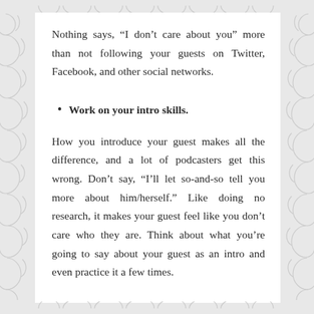Nothing says, “I don’t care about you” more than not following your guests on Twitter, Facebook, and other social networks.
Work on your intro skills.
How you introduce your guest makes all the difference, and a lot of podcasters get this wrong. Don’t say, “I’ll let so-and-so tell you more about him/herself.” Like doing no research, it makes your guest feel like you don’t care who they are. Think about what you’re going to say about your guest as an intro and even practice it a few times.